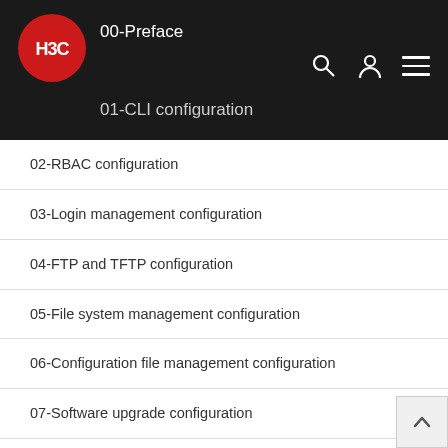H3C — 00-Preface / 01-CLI configuration
02-RBAC configuration
03-Login management configuration
04-FTP and TFTP configuration
05-File system management configuration
06-Configuration file management configuration
07-Software upgrade configuration
08-ISSU configuration
09-Device management configuration
10-Tcl configuration